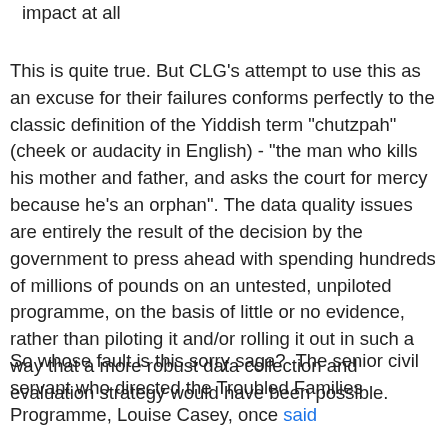impact at all
This is quite true. But CLG's attempt to use this as an excuse for their failures conforms perfectly to the classic definition of the Yiddish term "chutzpah" (cheek or audacity in English) - "the man who kills his mother and father, and asks the court for mercy because he's an orphan". The data quality issues are entirely the result of the decision by the government to press ahead with spending hundreds of millions of pounds on an untested, unpiloted programme, on the basis of little or no evidence, rather than piloting it and/or rolling it out in such a way that a more robust data collection and evaluation strategy would have been possible.
So whose fault is this sorry saga?  The senior civil servant who directed the Troubled Families Programme, Louise Casey, once said